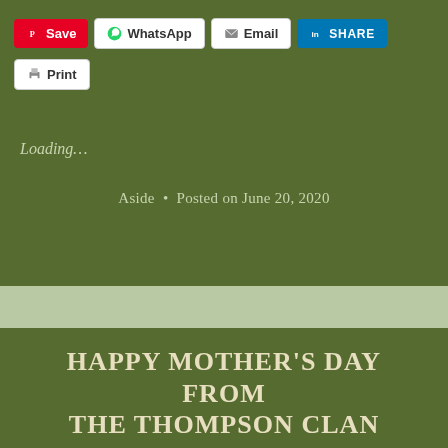[Figure (screenshot): Social sharing buttons row: Pinterest Save, WhatsApp, Email, LinkedIn SHARE, and Print]
Loading...
Aside  •  Posted on June 20, 2020
HAPPY MOTHER'S DAY FROM THE THOMPSON CLAN
his time alone has sharpened my appreciation for family and friends